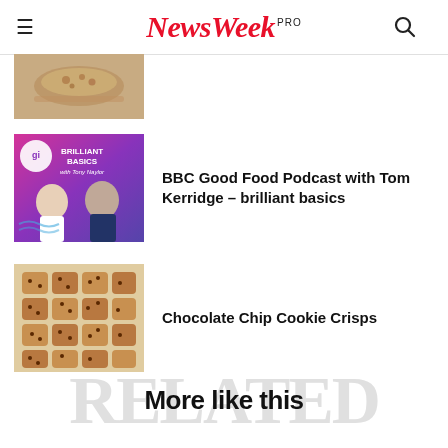NewsWeek PRO
[Figure (photo): Thumbnail image of a food dish in a bowl, top of page (partially cropped)]
[Figure (photo): Thumbnail of BBC Good Food Podcast with Tom Kerridge – Brilliant Basics cover art showing two men, one in white chef jacket and one in dark shirt]
BBC Good Food Podcast with Tom Kerridge – brilliant basics
[Figure (photo): Thumbnail of chocolate chip cookie crisps laid out on a surface]
Chocolate Chip Cookie Crisps
More like this